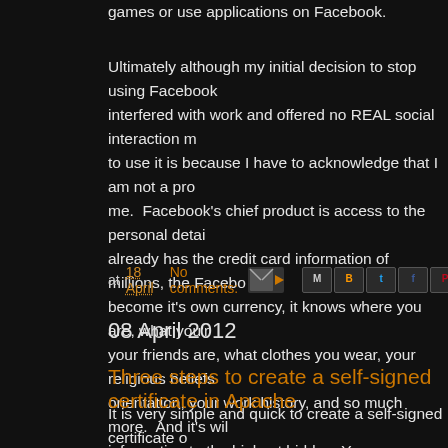games or use applications on Facebook.
Ultimately although my initial decision to stop using Facebook interfered with work and offered no REAL social interaction m to use it is because I have to acknowledge that I am not a pro me. Facebook's chief product is access to the personal detai already has the credit card information of millions, the Facebo become it's own currency, it knows where you are, what you'r your friends are, what clothes you wear, your religious beliefs orientation, your work history, and so much more. And it's wil information to the highest bidder. You are Facebook's produc product?
at 18 April No comments:
08 April 2012
Three steps to create a self-signed certificate in Apache
It is very simple and quick to create a self-signed certificate o your development machine. Of course you would never use